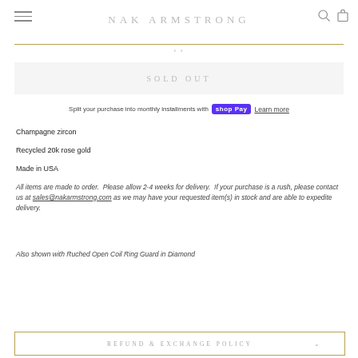NAK ARMSTRONG
Champagne zircon
Recycled 20k rose gold
Made in USA
All items are made to order.  Please allow 2-4 weeks for delivery.  If your purchase is a rush, please contact us at sales@nakarmstrong.com as we may have your requested item(s) in stock and are able to expedite delivery.
Also shown with Ruched Open Coil Ring Guard in Diamond
REFUND & EXCHANGE POLICY